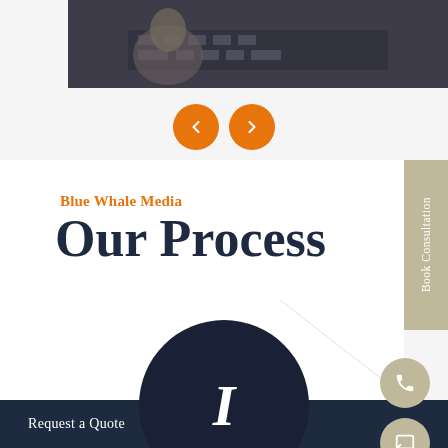[Figure (photo): Top partial photo strip showing a person working at a keyboard/laptop, dark toned image]
[Figure (infographic): Two orange circular navigation arrow buttons (left and right arrows) for a carousel]
Blue Whale Media
Our Process
[Figure (infographic): Tan/beige vertical sidebar tab with text 'Book Consultation' rotated vertically]
[Figure (infographic): Dark navy circle with white bold italic number '1' inside, partially cut off at bottom]
Request a Quote
[Figure (infographic): Tan/beige circular phone icon button on right side]
[Figure (infographic): Tan/beige circular chat/message icon button on right side]